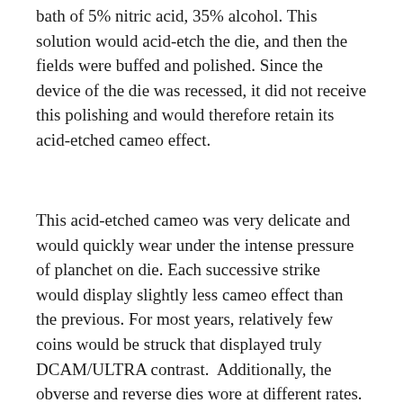bath of 5% nitric acid, 35% alcohol. This solution would acid-etch the die, and then the fields were buffed and polished. Since the device of the die was recessed, it did not receive this polishing and would therefore retain its acid-etched cameo effect.
This acid-etched cameo was very delicate and would quickly wear under the intense pressure of planchet on die. Each successive strike would display slightly less cameo effect than the previous. For most years, relatively few coins would be struck that displayed truly DCAM/ULTRA contrast. Additionally, the obverse and reverse dies wore at different rates. During the 1950-1967 era, the mint only replaced those dies that were badly worn, leaving its mate on the press. This practice was responsible for most of the mismatched cameo proofs of this era.